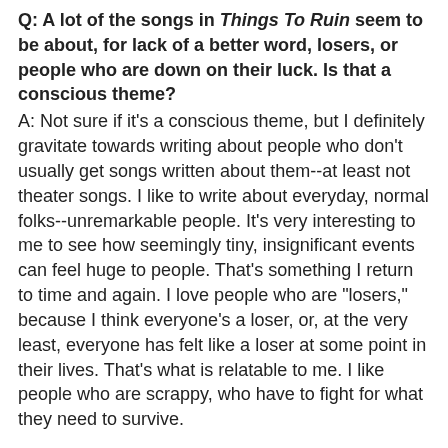Q: A lot of the songs in Things To Ruin seem to be about, for lack of a better word, losers, or people who are down on their luck. Is that a conscious theme?
A: Not sure if it's a conscious theme, but I definitely gravitate towards writing about people who don't usually get songs written about them--at least not theater songs. I like to write about everyday, normal folks--unremarkable people. It's very interesting to me to see how seemingly tiny, insignificant events can feel huge to people. That's something I return to time and again. I love people who are "losers," because I think everyone's a loser, or, at the very least, everyone has felt like a loser at some point in their lives. That's what is relatable to me. I like people who are scrappy, who have to fight for what they need to survive.
Q: Is there a song in Things To Ruin that has the most significance to you or that you're proudest to have written?
A: I try to be honest when I'm writing--honesty is the thing that is most important to me. And I feel like "Never Heard Nothing" is a very honest song. I'm proud to have written that one because I think it's a song where I allowed myself to